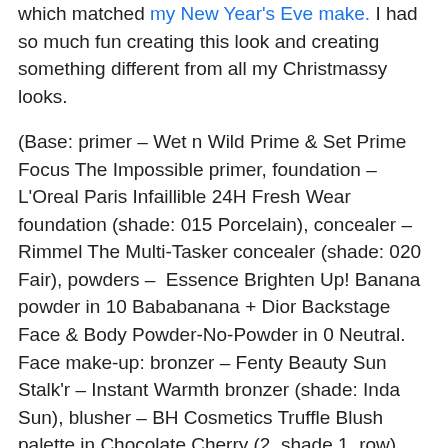which matched my New Year's Eve make. I had so much fun creating this look and creating something different from all my Christmassy looks.

(Base: primer – Wet n Wild Prime & Set Prime Focus The Impossible primer, foundation – L'Oreal Paris Infaillible 24H Fresh Wear foundation (shade: 015 Porcelain), concealer – Rimmel The Multi-Tasker concealer (shade: 020 Fair), powders –  Essence Brighten Up! Banana powder in 10 Bababanana + Dior Backstage Face & Body Powder-No-Powder in 0 Neutral. Face make-up: bronzer – Fenty Beauty Sun Stalk'r – Instant Warmth bronzer (shade: Inda Sun), blusher – BH Cosmetics Truffle Blush palette in Chocolate Cherry (2. shade 1. row), highlighter – Ofra Cosmetics x Nikkietutorials Glazed Donut highlighter. Eye make-up: base – MAC Pro Longwear Paint Pot in Painterly, eyeshadows – Essence eyeshadow in 05